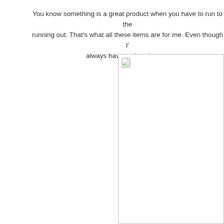You know something is a great product when you have to run to the store before running out. That's what all these items are for me. Even though I'm always have a place in my r
[Figure (photo): A broken image placeholder with a small landscape icon in the top-left corner, shown as a white rectangle with a light gray border.]